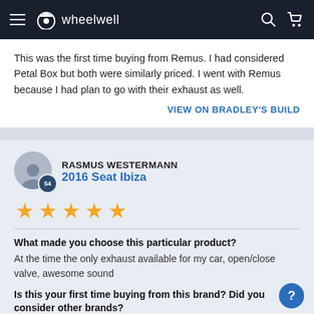wheelwell
This was the first time buying from Remus. I had considered Petal Box but both were similarly priced. I went with Remus because I had plan to go with their exhaust as well.
VIEW ON BRADLEY'S BUILD
RASMUS WESTERMANN
2016 Seat Ibiza
[Figure (illustration): 5 gold star rating]
What made you choose this particular product?
At the time the only exhaust available for my car, open/close valve, awesome sound
Is this your first time buying from this brand? Did you consider other brands?
Yes.